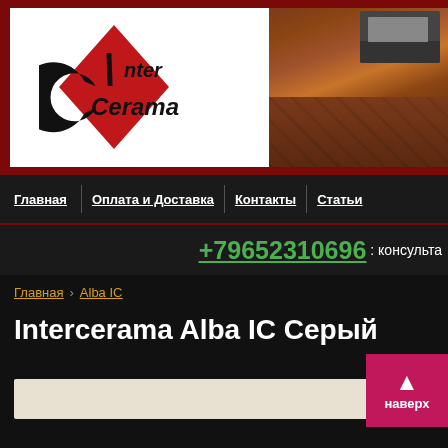[Figure (logo): Intercerama logo with red diamond shape and text 'Inter Cerama' in black, plus two flooring/interior photos]
Главная | Оплата и Доставка | Контакты | Статьи
+79652310696: консульта
Главная  Alba IC
Intercerama Alba IC Серый
[Figure (other): Light colored tile/flooring image placeholder]